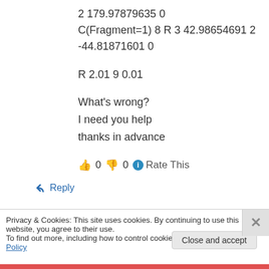2 179.97879635 0
C(Fragment=1) 8 R 3 42.98654691 2
-44.81871601 0
R 2.01 9 0.01
What's wrong?
I need you help
thanks in advance
👍 0 👎 0 ℹ Rate This
↩ Reply
Privacy & Cookies: This site uses cookies. By continuing to use this website, you agree to their use.
To find out more, including how to control cookies, see here: Cookie Policy
Close and accept